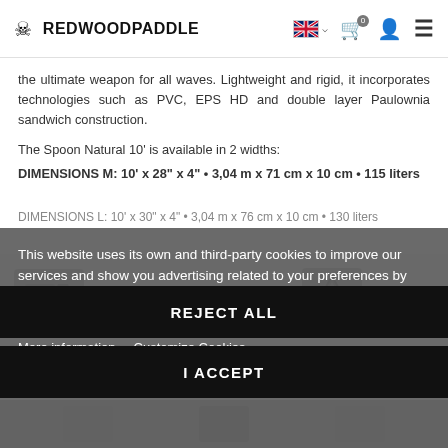REDWOODPADDLE
the ultimate weapon for all waves. Lightweight and rigid, it incorporates technologies such as PVC, EPS HD and double layer Paulownia sandwich construction.
The Spoon Natural 10' is available in 2 widths:
DIMENSIONS M: 10' x 28" x 4" • 3,04 m x 71 cm x 10 cm • 115 liters
DIMENSIONS L: 10' x 30" x 4" • 3,04 m x 76 cm x 10 cm • 130 liters
This website uses its own and third-party cookies to improve our services and show you advertising related to your preferences by analyzing your browsing habits. To give your consent to its use, press the Accept button.
More information   Customize Cookies
Livraison sous 3 à 5 jours
Tous niveaux
REJECT ALL
I ACCEPT